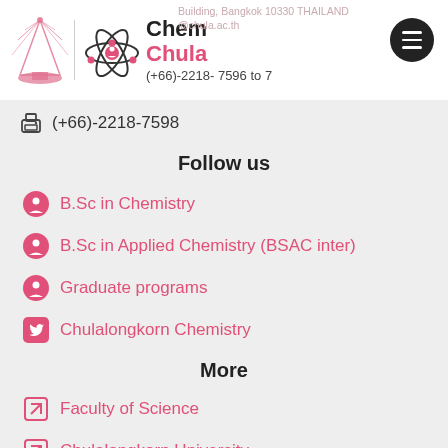[Figure (logo): Chulalongkorn University and Chemistry Department logo with atom icon]
Building, Bangkok 10330 THAILAND
@chula.ac.th
(+66)-2218- 7596 to 7
(+66)-2218-7598
Follow us
B.Sc in Chemistry
B.Sc in Applied Chemistry (BSAC inter)
Graduate programs
Chulalongkorn Chemistry
More
Faculty of Science
Chulalongkorn University
[Figure (infographic): Social media buttons: Facebook, Twitter, LINE, and a plus button]